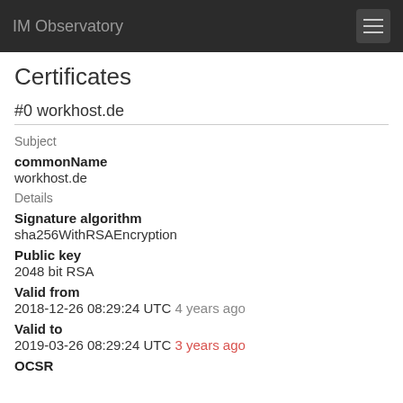IM Observatory
Certificates
#0 workhost.de
Subject
commonName
workhost.de
Details
Signature algorithm
sha256WithRSAEncryption
Public key
2048 bit RSA
Valid from
2018-12-26 08:29:24 UTC 4 years ago
Valid to
2019-03-26 08:29:24 UTC 3 years ago
OCSR